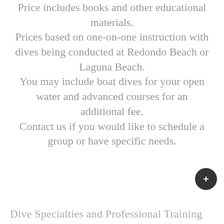Price includes books and other educational materials. Prices based on one-on-one instruction with dives being conducted at Redondo Beach or Laguna Beach. You may include boat dives for your open water and advanced courses for an additional fee. Contact us if you would like to schedule a group or have specific needs.
Dive Specialties and Professional Training